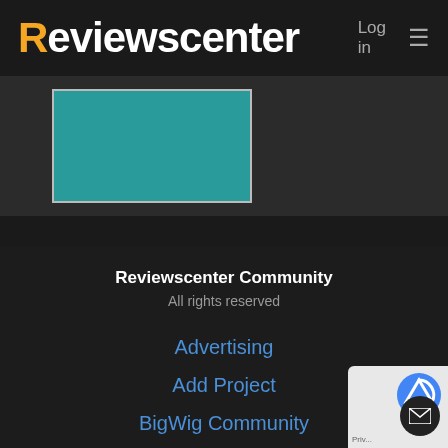Reviewscenter   Log in  ≡
[Figure (other): Teal/turquoise colored rectangular image placeholder inside a dark content card area]
Reviewscenter Community
All rights reserved
Advertising
Add Project
BigWig Community
Contact Us
[Figure (other): reCAPTCHA badge and mail/envelope floating action button in bottom-right corner]